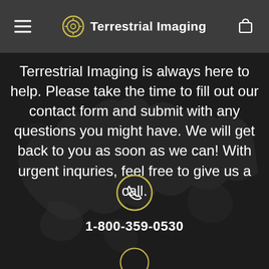Terrestrial Imaging
Terrestrial Imaging is always here to help. Please take the time to fill out our contact form and submit with any questions you might have. We will get back to you as soon as we can! With urgent inquries, feel free to give us a call.
[Figure (illustration): Phone icon in olive/yellow circle]
1-800-359-0530
[Figure (illustration): Partially visible circle icon at bottom]